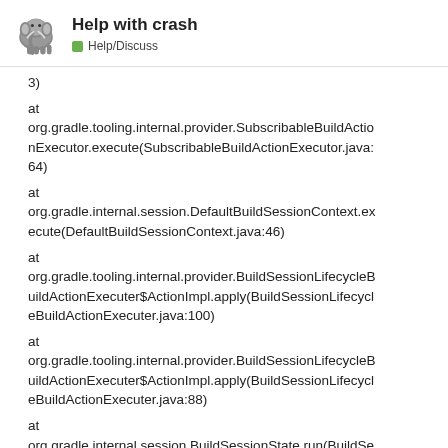Help with crash
Help/Discuss
3)
at
org.gradle.tooling.internal.provider.SubscribableBuildActionExecutor.execute(SubscribableBuildActionExecutor.java:64)
at
org.gradle.internal.session.DefaultBuildSessionContext.execute(DefaultBuildSessionContext.java:46)
at
org.gradle.tooling.internal.provider.BuildSessionLifecycleBuildActionExecuter$ActionImpl.apply(BuildSessionLifecycleBuildActionExecuter.java:100)
at
org.gradle.tooling.internal.provider.BuildSessionLifecycleBuildActionExecuter$ActionImpl.apply(BuildSessionLifecycleBuildActionExecuter.java:88)
at
org.gradle.internal.session.BuildSessionState.run(BuildSessionState.java:69)